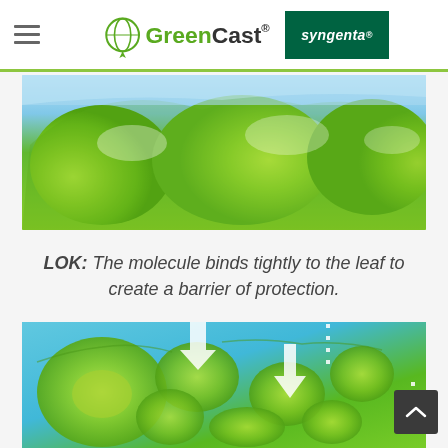GreenCast | syngenta
[Figure (photo): Close-up macro photograph of green plant leaf cells showing glossy, rounded cell structures with reflective highlights in shades of bright green]
LOK: The molecule binds tightly to the leaf to create a barrier of protection.
[Figure (illustration): Scientific illustration of plant leaf cross-section cells in teal/green colors with white arrows indicating downward movement through the cellular structure, representing molecule penetration]